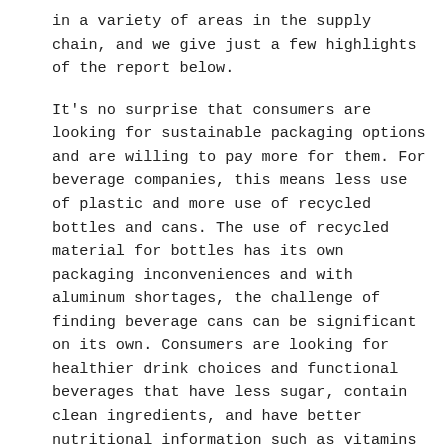in a variety of areas in the supply chain, and we give just a few highlights of the report below.
It's no surprise that consumers are looking for sustainable packaging options and are willing to pay more for them. For beverage companies, this means less use of plastic and more use of recycled bottles and cans. The use of recycled material for bottles has its own packaging inconveniences and with aluminum shortages, the challenge of finding beverage cans can be significant on its own. Consumers are looking for healthier drink choices and functional beverages that have less sugar, contain clean ingredients, and have better nutritional information such as vitamins and minerals. For beverage producers, this may require a change in drink formulas and recipes and